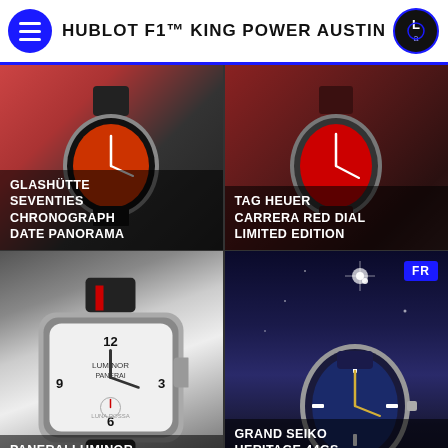HUBLOT F1™ KING POWER AUSTIN
[Figure (photo): Glashütte Seventies Chronograph Date Panorama watch with orange/red tones]
GLASHÜTTE SEVENTIES CHRONOGRAPH DATE PANORAMA
[Figure (photo): TAG Heuer Carrera Red Dial Limited Edition watch on dark red background]
TAG HEUER CARRERA RED DIAL LIMITED EDITION
[Figure (photo): Panerai Luminor Luna Rossa PAM01342 watch with white dial]
PANERAI LUMINOR LUNA ROSSA PAM01342
[Figure (photo): Grand Seiko Heritage 44GS blue dial watch against mountain night sky]
GRAND SEIKO HERITAGE 44GS ÉDITION LIMITÉE 55E ANNIVERSAIRE
[Figure (photo): Diving watch near shark underwater scene]
[Figure (photo): A. Lange & Söhne watch with white dial and blue hands]